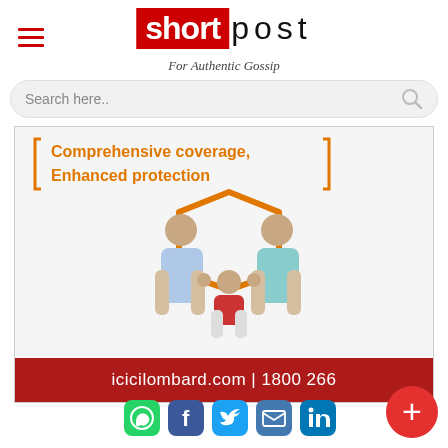short post — For Authentic Gossip
Search here..
[Figure (illustration): ICICI Lombard insurance advertisement showing a family (man, woman, baby) sitting cross-legged with an orange shield behind them. Text reads: 'Comprehensive coverage, Enhanced protection'. Red banner at bottom: 'icicilombard.com | 1800 26€']
icicilombard.com | 1800 266